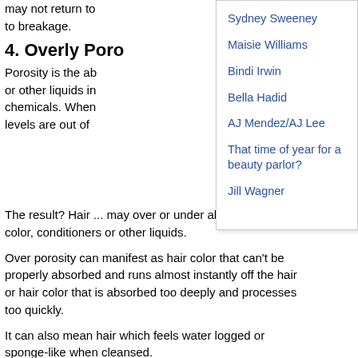may not return to ... to breakage.
4. Overly Poro...
Porosity is the ab... or other liquids in... chemicals. When... levels are out of...
Sydney Sweeney
Maisie Williams
Bindi Irwin
Bella Hadid
AJ Mendez/AJ Lee
That time of year for a beauty parlor?
Jill Wagner
The result? Hair ... may over or under absorb water, hair color, conditioners or other liquids.
Over porosity can manifest as hair color that can't be properly absorbed and runs almost instantly off the hair or hair color that is absorbed too deeply and processes too quickly.
It can also mean hair which feels water logged or sponge-like when cleansed.